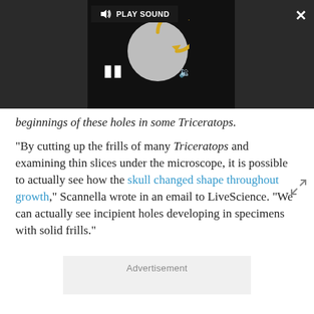[Figure (screenshot): Dark video player overlay with PLAY SOUND button, circular loading/replay spinner graphic in grey, pause button (II), speaker icon, close X button, and expand arrows. Video frame shows partial text in background.]
beginnings of these holes in some Triceratops.
"By cutting up the frills of many Triceratops and examining thin slices under the microscope, it is possible to actually see how the skull changed shape throughout growth," Scannella wrote in an email to LiveScience. "We can actually see incipient holes developing in specimens with solid frills."
[Figure (other): Advertisement placeholder box with grey background and 'Advertisement' label.]